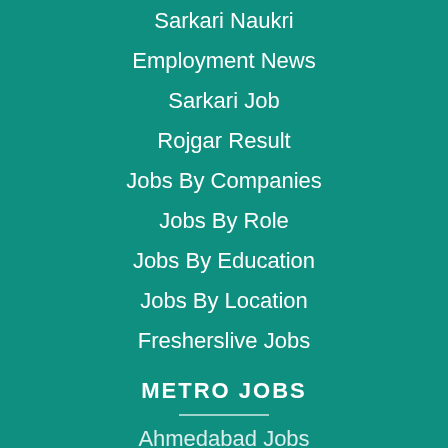Sarkari Naukri
Employment News
Sarkari Job
Rojgar Result
Jobs By Companies
Jobs By Role
Jobs By Education
Jobs By Location
Fresherslive Jobs
METRO JOBS
Ahmedabad Jobs